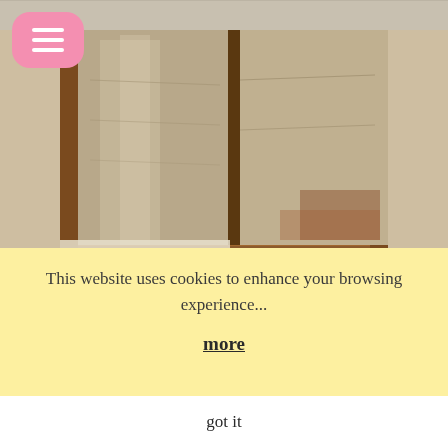[Figure (photo): Close-up photo of an open wooden book or wooden panels on a rustic wooden frame, weathered texture, brown and grey tones]
We were going to hike Charyn Canyon and it was spectacular. We hiked the length of the Canyon. The scenery was dramatic with incredible rock formations. It was incredibly hot. I was first to the end of the canyon, well there was an incentive – beer at the end!  The hike back up was challenging especially
This website uses cookies to enhance your browsing experience...
more
got it